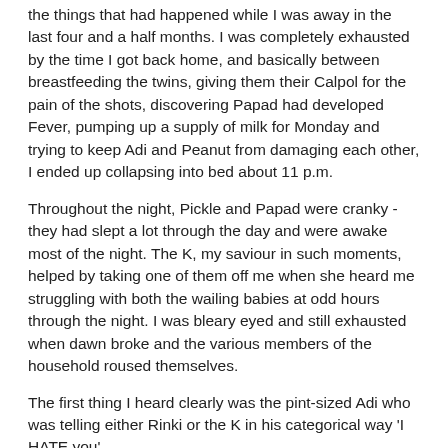the things that had happened while I was away in the last four and a half months. I was completely exhausted by the time I got back home, and basically between breastfeeding the twins, giving them their Calpol for the pain of the shots, discovering Papad had developed Fever, pumping up a supply of milk for Monday and trying to keep Adi and Peanut from damaging each other, I ended up collapsing into bed about 11 p.m.
Throughout the night, Pickle and Papad were cranky -they had slept a lot through the day and were awake most of the night. The K, my saviour in such moments, helped by taking one of them off me when she heard me struggling with both the wailing babies at odd hours through the night. I was bleary eyed and still exhausted when dawn broke and the various members of the household roused themselves.
The first thing I heard clearly was the pint-sized Adi who was telling either Rinki or the K in his categorical way 'I HATE you'.
Life is fun.